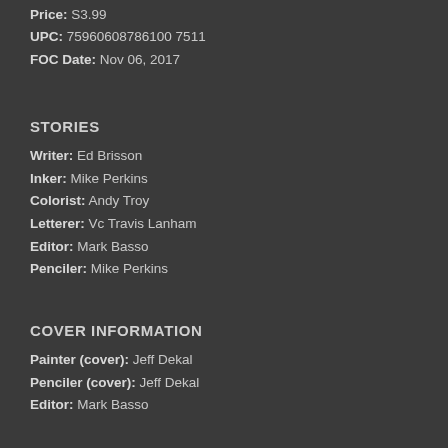Price: S3.99
UPC: 75960608786100 7511
FOC Date: Nov 06, 2017
STORIES
Writer: Ed Brisson
Inker: Mike Perkins
Colorist: Andy Troy
Letterer: Vc Travis Lanham
Editor: Mark Basso
Penciler: Mike Perkins
COVER INFORMATION
Painter (cover): Jeff Dekal
Penciler (cover): Jeff Dekal
Editor: Mark Basso